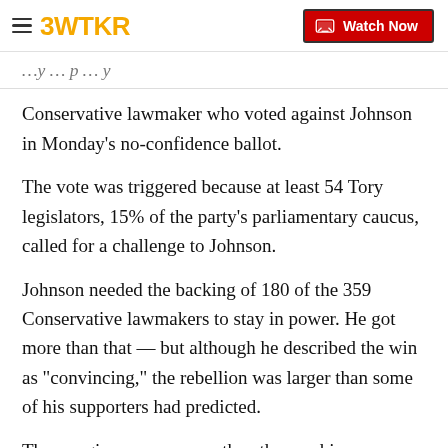3WTKR | Watch Now
Conservative lawmaker who voted against Johnson in Monday's no-confidence ballot.
The vote was triggered because at least 54 Tory legislators, 15% of the party's parliamentary caucus, called for a challenge to Johnson.
Johnson needed the backing of 180 of the 359 Conservative lawmakers to stay in power. He got more than that — but although he described the win as "convincing," the rebellion was larger than some of his supporters had predicted.
The margin was narrower than the one his predecessor, Theresa May, got in a 2018 no-confidence vote. She